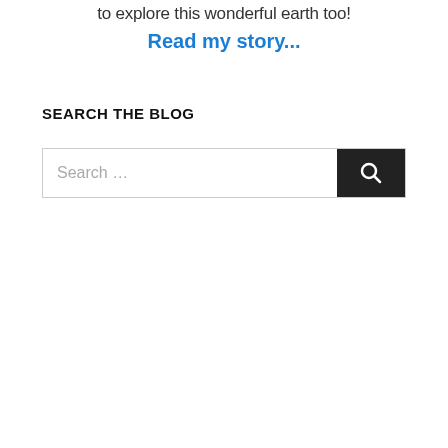to explore this wonderful earth too!
Read my story...
SEARCH THE BLOG
[Figure (screenshot): Search bar widget with placeholder text 'Search ...' and a dark search button with magnifying glass icon]